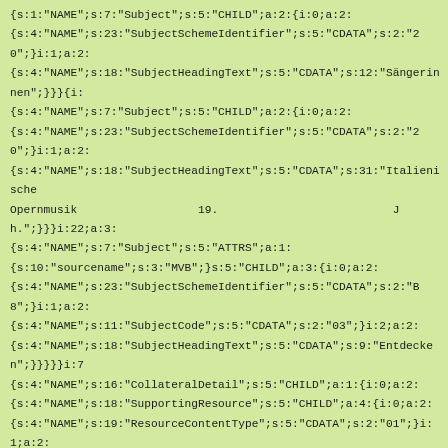{s:1:"NAME";s:7:"Subject";s:5:"CHILD";a:2:{i:0;a:2:{s:4:"NAME";s:23:"SubjectSchemeIdentifier";s:5:"CDATA";s:2:"20";}i:1;a:2:{s:4:"NAME";s:18:"SubjectHeadingText";s:5:"CDATA";s:12:"Sängerinnen";}}}i:{s:4:"NAME";s:7:"Subject";s:5:"CHILD";a:2:{i:0;a:2:{s:4:"NAME";s:23:"SubjectSchemeIdentifier";s:5:"CDATA";s:2:"20";}i:1;a:2:{s:4:"NAME";s:18:"SubjectHeadingText";s:5:"CDATA";s:31:"Italienische Opernmusik                  19.                          Jh.";}}}i:22;a:3:{s:4:"NAME";s:7:"Subject";s:5:"ATTRS";a:1:{s:10:"sourcename";s:3:"MVB";}s:5:"CHILD";a:3:{i:0;a:2:{s:4:"NAME";s:23:"SubjectSchemeIdentifier";s:5:"CDATA";s:2:"B8";}i:1;a:2:{s:4:"NAME";s:11:"SubjectCode";s:5:"CDATA";s:2:"03";}i:2;a:2:{s:4:"NAME";s:18:"SubjectHeadingText";s:5:"CDATA";s:9:"Entdecken";}}}}}i:7{s:4:"NAME";s:16:"CollateralDetail";s:5:"CHILD";a:1:{i:0;a:2:{s:4:"NAME";s:18:"SupportingResource";s:5:"CHILD";a:4:{i:0;a:2:{s:4:"NAME";s:19:"ResourceContentType";s:5:"CDATA";s:2:"01";}i:1;a:2:{s:4:"NAME";s:15:"ContentAudience";s:5:"CDATA";s:2:"00";}i:2;a:2:{s:4:"NAME";s:12:"ResourceMode";s:5:"CDATA";s:2:"03";}i:3;a:2:{s:4:"NAME";s:15:"ResourceVersion";s:5:"CHILD";a:8:{i:0;a:2:{s:4:"NAME";s:12:"ResourceForm";s:5:"CDATA";s:2:"02";}i:1;a:2:{s:4:"NAME";s:22:"ResourceVersionFeature";s:5:"CHILD";a:2:{i:0;a:2:{s:4:"NAME";s:26:"ResourceVersionFeatureType";s:5:"CDATA";s:2:"01";}i:1;a:{s:4:"NAME";s:12:"FeatureValue";s:5:"CDATA";s:4:"D502";}}}i:2;a:2:{s:4:"NAME";s:22:"ResourceVersionFeature";s:5:"CHILD";a:2:{i:0;a:2:{s:4:"NAME";s:26:"ResourceVersionFeatureType";s:5:"CDATA";s:2:"02";}i:1;a:{s:4:"NAME";s:12:"FeatureValue";s:5:"CDATA";s:3:"600";}}}i:3;a:2:{s:4:"NAME";s:22:"ResourceVersionFeature";s:5:"CHILD";a:2:{i:0;a:2:{s:4:"NAME";s:26:"ResourceVersionFeatureType";s:5:"CDATA";s:2:"03";}i:1;a:{s:4:"NAME";s:12:"FeatureValue";s:5:"CDATA";s:3:"363";}}}i:4;a:2: